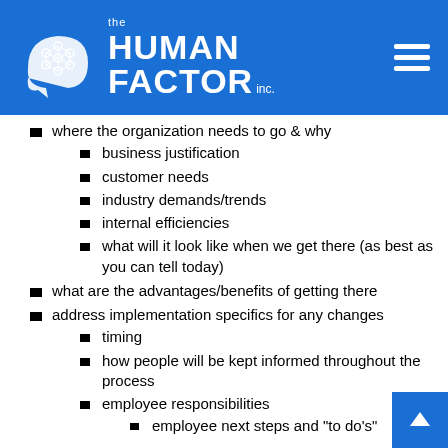The Human Factor inc.
where the organization needs to go & why
business justification
customer needs
industry demands/trends
internal efficiencies
what will it look like when we get there (as best as you can tell today)
what are the advantages/benefits of getting there
address implementation specifics for any changes
timing
how people will be kept informed throughout the process
employee responsibilities
employee next steps and "to do's"